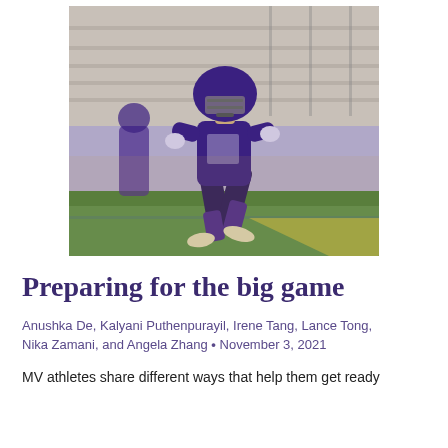[Figure (photo): A football player in purple uniform and helmet in an athletic stance on a field, with bleachers visible in the background.]
Preparing for the big game
Anushka De, Kalyani Puthenpurayil, Irene Tang, Lance Tong, Nika Zamani, and Angela Zhang • November 3, 2021
MV athletes share different ways that help them get ready